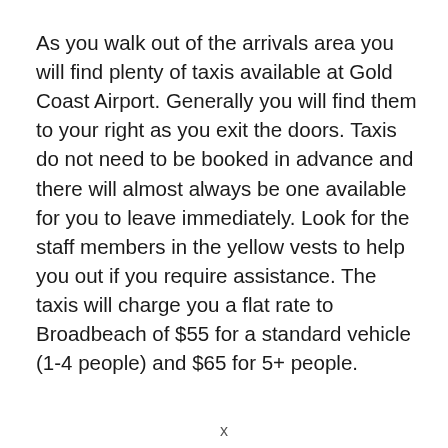As you walk out of the arrivals area you will find plenty of taxis available at Gold Coast Airport. Generally you will find them to your right as you exit the doors. Taxis do not need to be booked in advance and there will almost always be one available for you to leave immediately. Look for the staff members in the yellow vests to help you out if you require assistance. The taxis will charge you a flat rate to Broadbeach of $55 for a standard vehicle (1-4 people) and $65 for 5+ people.
x